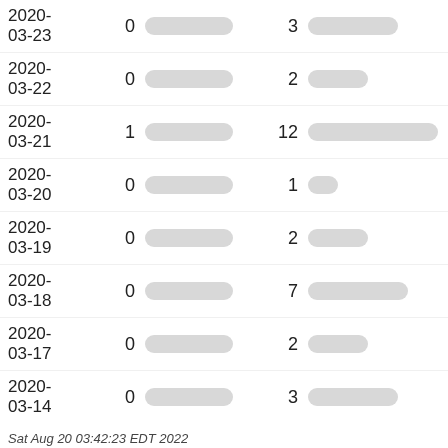| Date | Col1 | Bar1 | Col2 | Bar2 |
| --- | --- | --- | --- | --- |
| 2020-03-23 | 0 |  | 3 |  |
| 2020-03-22 | 0 |  | 2 |  |
| 2020-03-21 | 1 |  | 12 |  |
| 2020-03-20 | 0 |  | 1 |  |
| 2020-03-19 | 0 |  | 2 |  |
| 2020-03-18 | 0 |  | 7 |  |
| 2020-03-17 | 0 |  | 2 |  |
| 2020-03-14 | 0 |  | 3 |  |
Sat Aug 20 03:42:23 EDT 2022